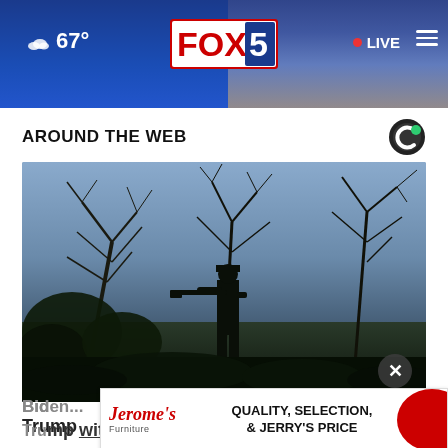67° FOX 5 LIVE
AROUND THE WEB
[Figure (photo): Silhouette of an armed soldier standing amidst bare tree branches against a blue-grey twilight sky]
Biden ... sing Trump withdrawal
[Figure (other): Jerome's Furniture advertisement: QUALITY, SELECTION, & JERRY'S PRICE]